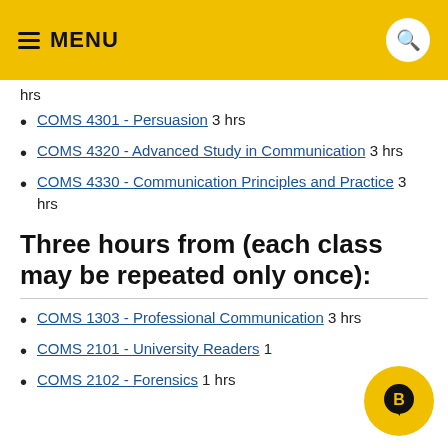MENU
hrs
COMS 4301 - Persuasion 3 hrs
COMS 4320 - Advanced Study in Communication 3 hrs
COMS 4330 - Communication Principles and Practice 3 hrs
Three hours from (each class may be repeated only once):
COMS 1303 - Professional Communication 3 hrs
COMS 2101 - University Readers 1
COMS 2102 - Forensics 1 hrs